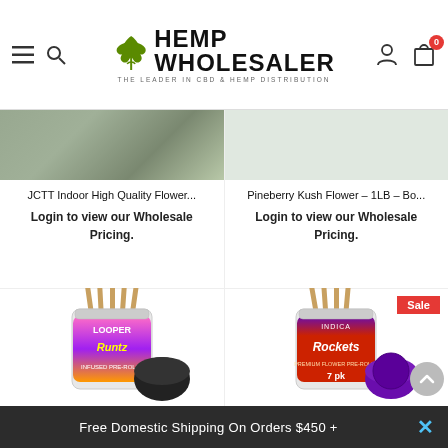[Figure (screenshot): Hemp Wholesaler website header with hamburger menu, search icon, logo with cannabis leaf, user icon, and cart icon showing 0 items]
[Figure (photo): Truncated product image of JCTT Indoor High Quality Flower]
JCTT Indoor High Quality Flower...
Login to view our Wholesale Pricing.
[Figure (photo): Product listing for Pineberry Kush Flower - 1LB]
Pineberry Kush Flower – 1LB – Bo...
Login to view our Wholesale Pricing.
[Figure (photo): Looper Runtz pre-roll jar product photo]
[Figure (photo): Rockets Indica pre-roll jar product photo with Sale badge]
Free Domestic Shipping On Orders $450 +